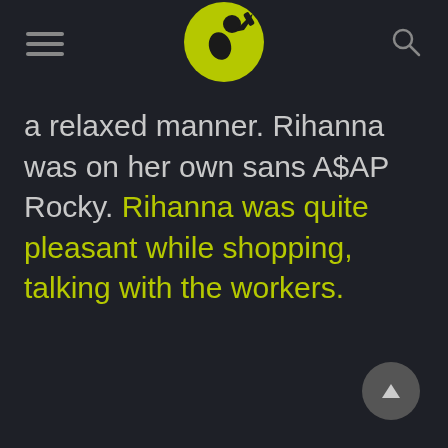[Figure (logo): Circular yellow-green logo with a black silhouette of a person drinking from a bottle]
a relaxed manner. Rihanna was on her own sans A$AP Rocky. Rihanna was quite pleasant while shopping, talking with the workers.